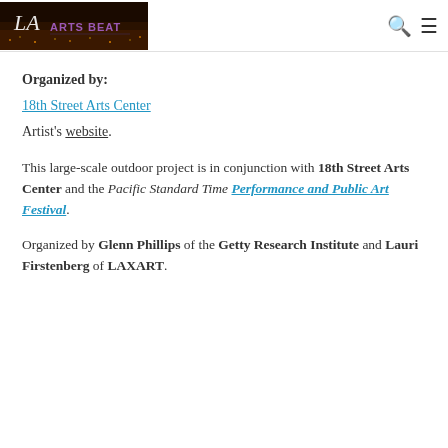LA Arts Beat [logo with search and menu icons]
Organized by:
18th Street Arts Center
Artist's website.
This large-scale outdoor project is in conjunction with 18th Street Arts Center and the Pacific Standard Time Performance and Public Art Festival.
Organized by Glenn Phillips of the Getty Research Institute and Lauri Firstenberg of LAXART.